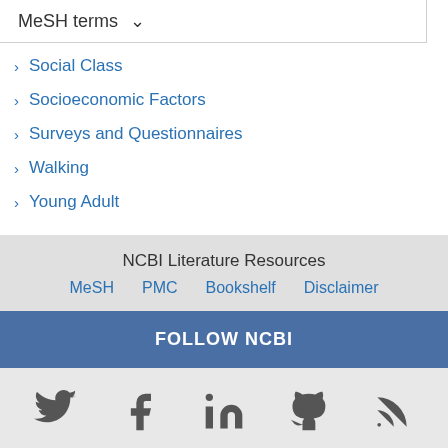MeSH terms
Social Class
Socioeconomic Factors
Surveys and Questionnaires
Walking
Young Adult
NCBI Literature Resources
MeSH   PMC   Bookshelf   Disclaimer
FOLLOW NCBI
Connect with NLM